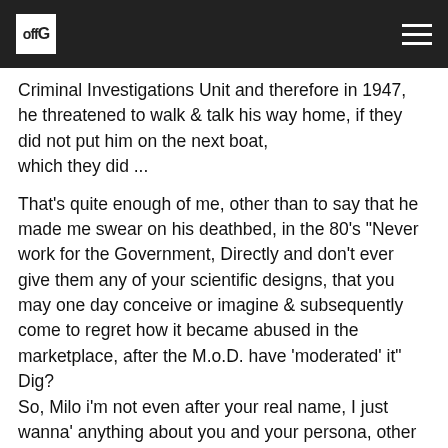offG
Criminal Investigations Unit and therefore in 1947, he threatened to walk & talk his way home, if they did not put him on the next boat, which they did ...

That's quite enough of me, other than to say that he made me swear on his deathbed, in the 80's "Never work for the Government, Directly and don't ever give them any of your scientific designs, that you may one day conceive or imagine & subsequently come to regret how it became abused in the marketplace, after the M.o.D. have 'moderated' it" Dig?
So, Milo i'm not even after your real name, I just wanna' anything about you and your persona, other than the fact that your programming indicates a sarcastic mofo.
Whoah, how spooky 🙂 having worked with CIA Agents in the 90's,
I'm scared ... 😉